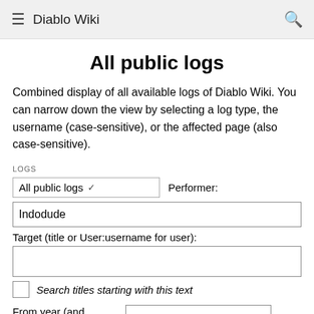Diablo Wiki
All public logs
Combined display of all available logs of Diablo Wiki. You can narrow down the view by selecting a log type, the username (case-sensitive), or the affected page (also case-sensitive).
LOGS
All public logs  ✓  Performer:
Indodude
Target (title or User:username for user):
Search titles starting with this text
From year (and earlier):
From month (and earlier): all